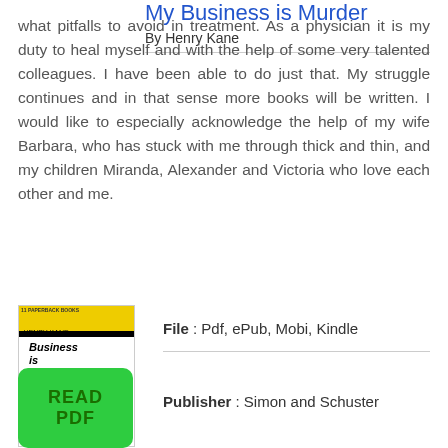what pitfalls to avoid in treatment. As a physician it is my duty to heal myself and with the help of some very talented colleagues. I have been able to do just that. My struggle continues and in that sense more books will be written. I would like to especially acknowledge the help of my wife Barbara, who has stuck with me through thick and thin, and my children Miranda, Alexander and Victoria who love each other and me.
[Figure (illustration): Book cover of 'My Business is Murder' by Henry Kane, showing yellow and black design with stylized text]
My Business is Murder
By Henry Kane
[Figure (other): Green READ PDF button]
File : Pdf, ePub, Mobi, Kindle
Publisher : Simon and Schuster